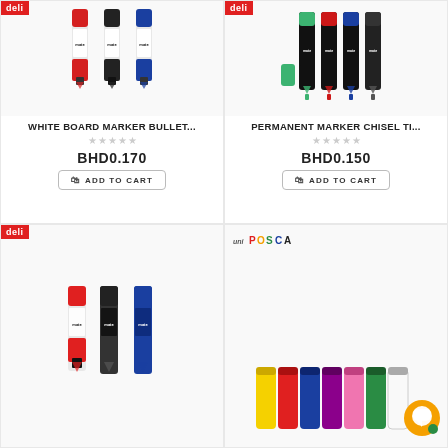[Figure (photo): Three Deli whiteboard markers in red, black, and blue colors]
WHITE BOARD MARKER BULLET...
BHD0.170
ADD TO CART
[Figure (photo): Four Deli permanent markers in green, red, blue, and black with chisel tip, plus a green eraser cap]
PERMANENT MARKER CHISEL TI...
BHD0.150
ADD TO CART
[Figure (photo): Three Deli markers in red, black, and blue colors, partially shown]
[Figure (photo): Uni Posca markers in multiple colors displayed, with chat bubble icon overlay]